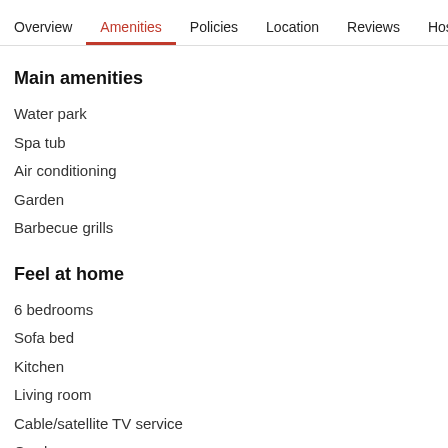Overview  Amenities  Policies  Location  Reviews  Host
Main amenities
Water park
Spa tub
Air conditioning
Garden
Barbecue grills
Feel at home
6 bedrooms
Sofa bed
Kitchen
Living room
Cable/satellite TV service
Garden